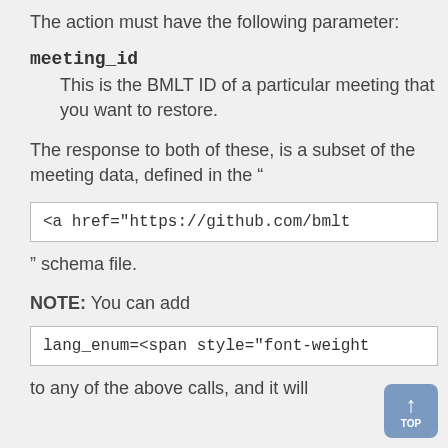The action must have the following parameter:
meeting_id
This is the BMLT ID of a particular meeting that you want to restore.
The response to both of these, is a subset of the meeting data, defined in the “
<a href="https://github.com/bmlt
” schema file.
NOTE: You can add
lang_enum=<span style="font-weight
to any of the above calls, and it will